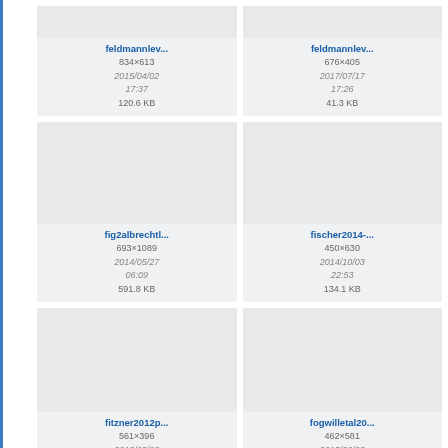[Figure (screenshot): File thumbnail card: feldmannlev..., 834x613, 2015/04/02 17:37, 120.6 KB]
[Figure (screenshot): File thumbnail card: feldmannlev..., 676x405, 2017/07/17 17:26, 41.3 KB]
[Figure (screenshot): File thumbnail card: fig2albrechtl..., 693x1089, 2014/05/27 06:09, 591.8 KB]
[Figure (screenshot): File thumbnail card: fischer2014-..., 450x630, 2014/10/03 22:53, 134.1 KB]
[Figure (screenshot): File thumbnail card: fitzner2012p..., 561x396, 2013/05/08]
[Figure (screenshot): File thumbnail card: fogwilletal20..., 462x581, 2015/03/03]